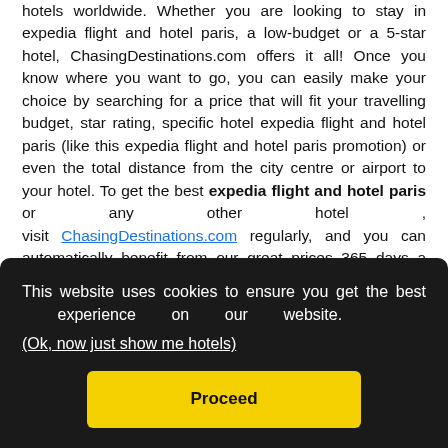hotels worldwide. Whether you are looking to stay in expedia flight and hotel paris, a low-budget or a 5-star hotel, ChasingDestinations.com offers it all! Once you know where you want to go, you can easily make your choice by searching for a price that will fit your travelling budget, star rating, specific hotel expedia flight and hotel paris (like this expedia flight and hotel paris promotion) or even the total distance from the city centre or airport to your hotel. To get the best expedia flight and hotel paris or any other hotel , visit ChasingDestinations.com regularly, and you can automatically benefit from our great prices 365 days a year!
This website uses cookies to ensure you get the best experience on our website.
(Ok, now just show me hotels)
Proceed